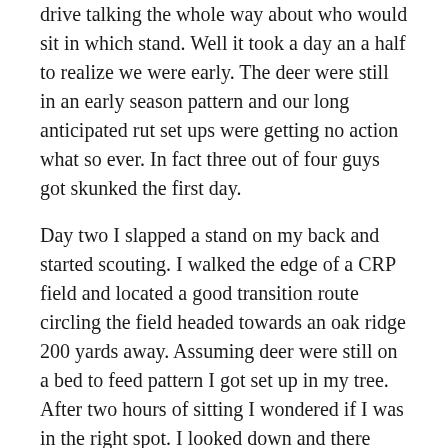drive talking the whole way about who would sit in which stand. Well it took a day an a half to realize we were early. The deer were still in an early season pattern and our long anticipated rut set ups were getting no action what so ever. In fact three out of four guys got skunked the first day.
Day two I slapped a stand on my back and started scouting. I walked the edge of a CRP field and located a good transition route circling the field headed towards an oak ridge 200 yards away. Assuming deer were still on a bed to feed pattern I got set up in my tree. After two hours of sitting I wondered if I was in the right spot. I looked down and there stood a beautiful 130 class 10 point at 5 yards. He had snuck up on me but completely oblivious that I was 25 feet straight over his head. I waited for what seemed like 10 minutes as he looked over the CRP field. When he felt the coast was clear he started into the field. I arrowed the buck at six yards as he was headed towards the